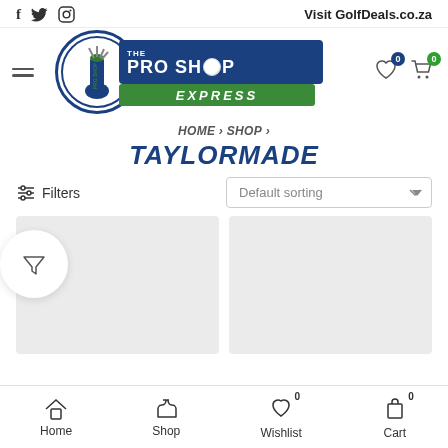f  twitter  instagram  | Visit GolfDeals.co.za
[Figure (logo): The Pro Shop Express logo with golf bag and ball graphic]
HOME > SHOP >
TAYLORMADE
Filters | Default sorting
[Figure (photo): Two product placeholder cards in light grey]
Home  Shop  Wishlist 0  Cart 0